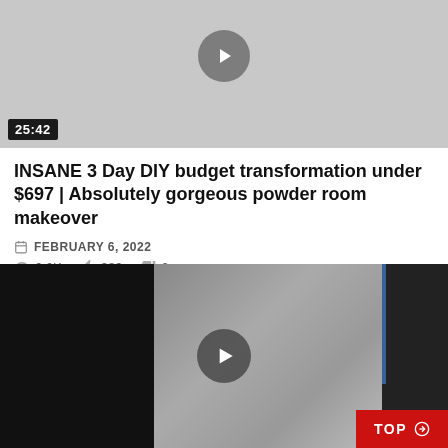[Figure (screenshot): Video thumbnail showing gray background with play button and duration badge 25:42]
INSANE 3 Day DIY budget transformation under $697 | Absolutely gorgeous powder room makeover
FEBRUARY 6, 2022
6.6K  389  0
[Figure (screenshot): Video thumbnail showing dark image with play button and TOP navigation badge in red]